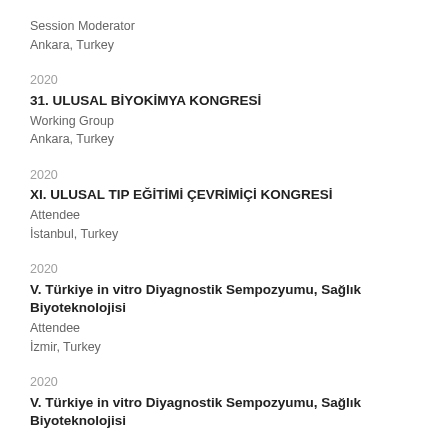Session Moderator
Ankara, Turkey
2020
31. ULUSAL BİYOKİMYA KONGRESİ
Working Group
Ankara, Turkey
2020
XI. ULUSAL TIP EĞİTİMİ ÇEVRİMİÇİ KONGRESİ
Attendee
İstanbul, Turkey
2020
V. Türkiye in vitro Diyagnostik Sempozyumu, Sağlık Biyoteknolojisi
Attendee
İzmir, Turkey
2020
V. Türkiye in vitro Diyagnostik Sempozyumu, Sağlık Biyoteknolojisi